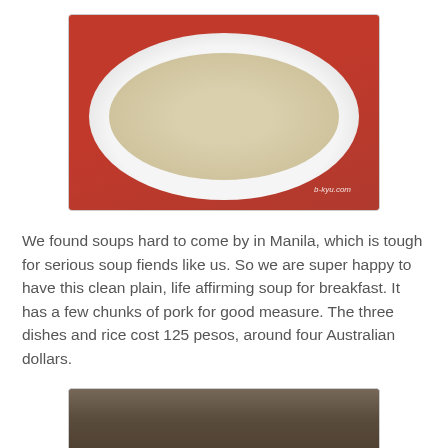[Figure (photo): A white bowl of clear pork soup with chunks of meat and a spoon, placed on a red table. Watermark reads 'b-kyu.com'.]
We found soups hard to come by in Manila, which is tough for serious soup fiends like us. So we are super happy to have this clean plain, life affirming soup for breakfast. It has a few chunks of pork for good measure. The three dishes and rice cost 125 pesos, around four Australian dollars.
[Figure (photo): Partial photo at bottom of page, appearing to show food items on a wooden surface, cropped.]